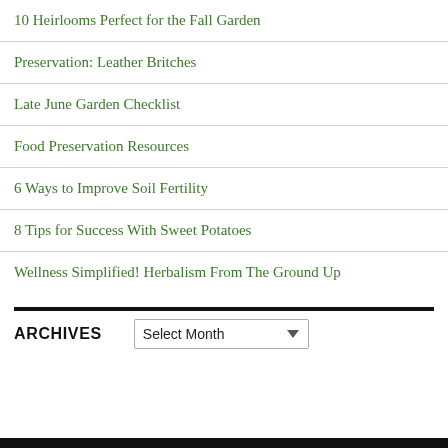10 Heirlooms Perfect for the Fall Garden
Preservation: Leather Britches
Late June Garden Checklist
Food Preservation Resources
6 Ways to Improve Soil Fertility
8 Tips for Success With Sweet Potatoes
Wellness Simplified! Herbalism From The Ground Up
ARCHIVES
Select Month